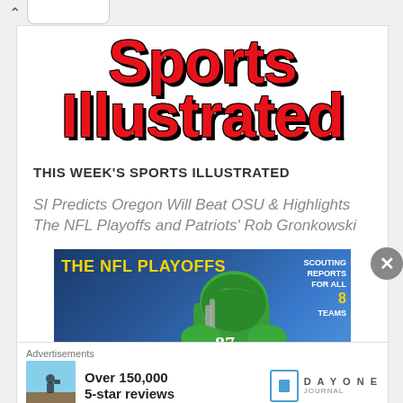[Figure (logo): Sports Illustrated logo in large red bold text with black outline/drop shadow]
THIS WEEK'S SPORTS ILLUSTRATED
SI Predicts Oregon Will Beat OSU & Highlights The NFL Playoffs and Patriots' Rob Gronkowski
[Figure (photo): Sports Illustrated magazine cover showing a football player in green Oregon Ducks uniform and helmet, with headline 'THE NFL PLAYOFFS' in yellow text and 'SCOUTING REPORTS FOR ALL 8 TEAMS' on the right side]
Advertisements
[Figure (photo): DayOne journal app advertisement showing a silhouette of a person against sky background with text 'Over 150,000 5-star reviews' and DayOne logo]